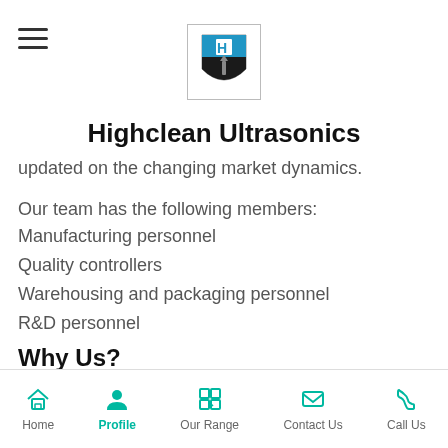Highclean Ultrasonics
Highclean Ultrasonics
updated on the changing market dynamics.
Our team has the following members:
Manufacturing personnel
Quality controllers
Warehousing and packaging personnel
R&D personnel
Why Us?
We are amongst the leading manufacturers and exporters of this highly commendable range of
Home  Profile  Our Range  Contact Us  Call Us